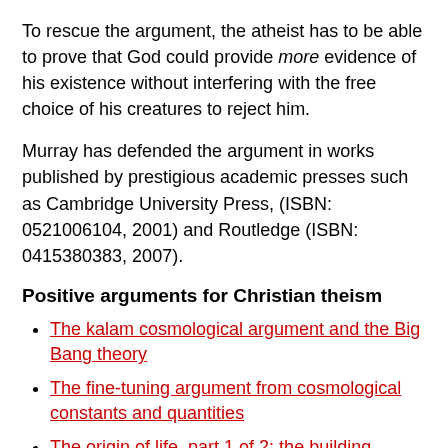To rescue the argument, the atheist has to be able to prove that God could provide more evidence of his existence without interfering with the free choice of his creatures to reject him.
Murray has defended the argument in works published by prestigious academic presses such as Cambridge University Press, (ISBN: 0521006104, 2001) and Routledge (ISBN: 0415380383, 2007).
Positive arguments for Christian theism
The kalam cosmological argument and the Big Bang theory
The fine-tuning argument from cosmological constants and quantities
The origin of life, part 1 of 2: the building blocks of life
The origin of life, part 2 of 2: biological information
The sudden origin of phyla in the Cambrian explosion